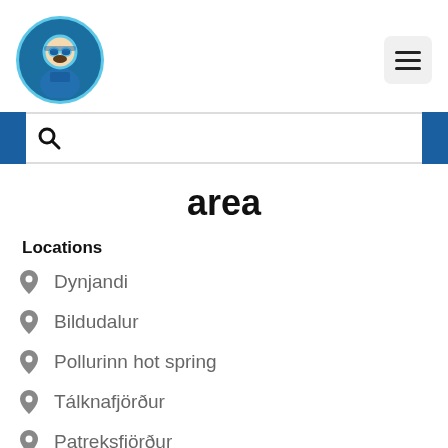[Figure (logo): Circular avatar logo with a person in a blue spacesuit/winter gear with goggles, surrounded by a light blue circle border]
[Figure (other): Hamburger menu button — three horizontal lines in a light gray rounded square]
[Figure (other): Search bar with dark blue left and right accent bars and a magnifying glass icon]
area
Locations
Dynjandi
Bildudalur
Pollurinn hot spring
Tálknafjörður
Patreksfjörður